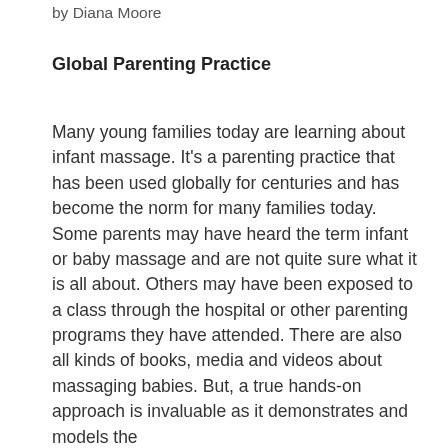by Diana Moore
Global Parenting Practice
Many young families today are learning about infant massage. It’s a parenting practice that has been used globally for centuries and has become the norm for many families today. Some parents may have heard the term infant or baby massage and are not quite sure what it is all about. Others may have been exposed to a class through the hospital or other parenting programs they have attended. There are also all kinds of books, media and videos about massaging babies. But, a true hands-on approach is invaluable as it demonstrates and models the